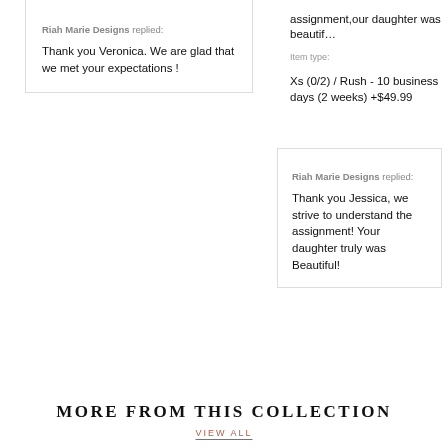Riah Marie Designs replied: Thank you Veronica. We are glad that we met your expectations !
assignment,our daughter was beautif…
Item type: Xs (0/2) / Rush - 10 business days (2 weeks) +$49.99
Riah Marie Designs replied: Thank you Jessica, we strive to understand the assignment! Your daughter truly was Beautiful!
MORE FROM THIS COLLECTION
VIEW ALL